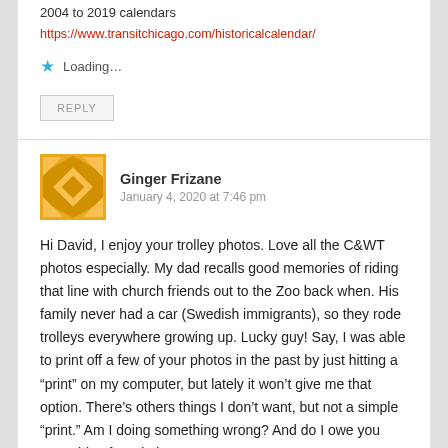2004 to 2019 calendars
https://www.transitchicago.com/historicalcalendar/
Loading...
REPLY
Ginger Frizane
January 4, 2020 at 7:46 pm
Hi David, I enjoy your trolley photos. Love all the C&WT photos especially. My dad recalls good memories of riding that line with church friends out to the Zoo back when. His family never had a car (Swedish immigrants), so they rode trolleys everywhere growing up. Lucky guy! Say, I was able to print off a few of your photos in the past by just hitting a “print” on my computer, but lately it won’t give me that option. There’s others things I don’t want, but not a simple “print.” Am I doing something wrong? And do I owe you something for printing